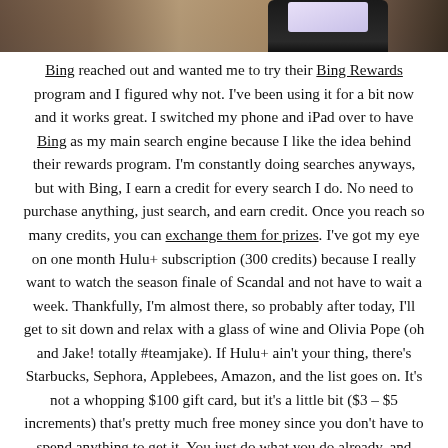[Figure (photo): Photo of a tablet/iPad device on a wooden surface, partially cropped at top]
Bing reached out and wanted me to try their Bing Rewards program and I figured why not. I've been using it for a bit now and it works great. I switched my phone and iPad over to have Bing as my main search engine because I like the idea behind their rewards program. I'm constantly doing searches anyways, but with Bing, I earn a credit for every search I do. No need to purchase anything, just search, and earn credit. Once you reach so many credits, you can exchange them for prizes. I've got my eye on one month Hulu+ subscription (300 credits) because I really want to watch the season finale of Scandal and not have to wait a week. Thankfully, I'm almost there, so probably after today, I'll get to sit down and relax with a glass of wine and Olivia Pope (oh and Jake! totally #teamjake). If Hulu+ ain't your thing, there's Starbucks, Sephora, Applebees, Amazon, and the list goes on. It's not a whopping $100 gift card, but it's a little bit ($3 – $5 increments) that's pretty much free money since you don't have to spend anything to get it. You just do what you do already, and keep searching, but just makes sure it's on Bing,